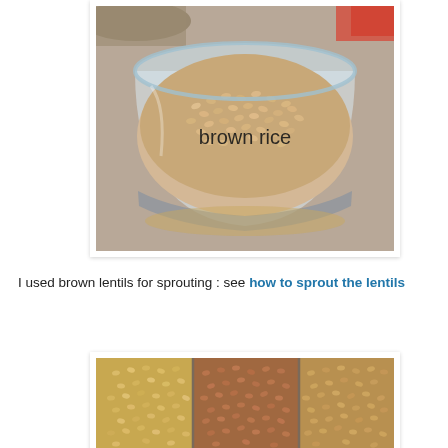[Figure (photo): A glass jar filled with brown rice, labeled 'brown rice' in text overlay. The jar sits on a surface with other containers visible in the background.]
I used brown lentils for sprouting : see how to sprout the lentils
[Figure (photo): Three glass jars side by side containing different types of grains or legumes, showing varying colors and textures.]